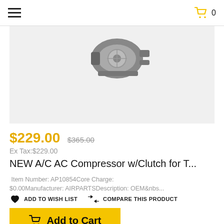Menu | Cart 0
[Figure (photo): A/C AC compressor with clutch part, shown on light gray background]
$229.00  $365.00
Ex Tax:$229.00
NEW A/C AC Compressor w/Clutch for T...
Item Number: AP10854Core Charge: $0.00Manufacturer: AIRPARTSDescription: OEM&nbs...
ADD TO WISH LIST
COMPARE THIS PRODUCT
Add to Cart